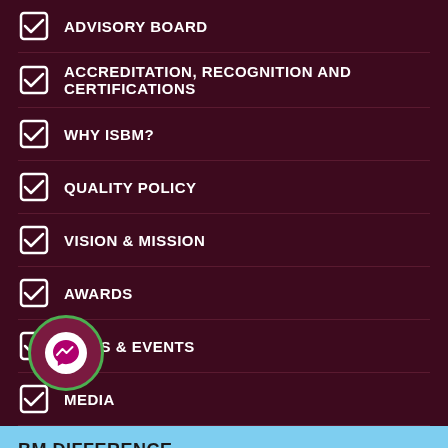ADVISORY BOARD
ACCREDITATION, RECOGNITION AND CERTIFICATIONS
WHY ISBM?
QUALITY POLICY
VISION & MISSION
AWARDS
NEWS & EVENTS
MEDIA
BM DIFFERENCE
Get the latest updates straight in your inbox
Enter mail id
Submit